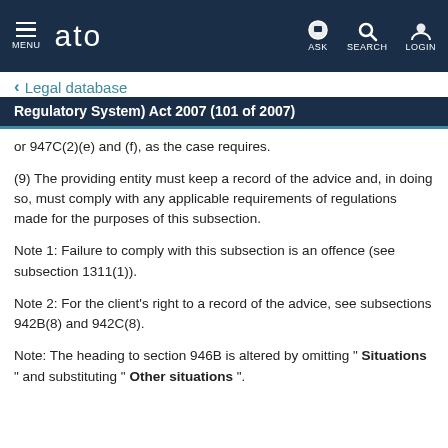ato | MENU | ASK | SEARCH | LOGIN
Legal database
Regulatory System) Act 2007 (101 of 2007)
or 947C(2)(e) and (f), as the case requires.
(9) The providing entity must keep a record of the advice and, in doing so, must comply with any applicable requirements of regulations made for the purposes of this subsection.
Note 1: Failure to comply with this subsection is an offence (see subsection 1311(1)).
Note 2: For the client's right to a record of the advice, see subsections 942B(8) and 942C(8).
Note: The heading to section 946B is altered by omitting " Situations " and substituting " Other situations ".